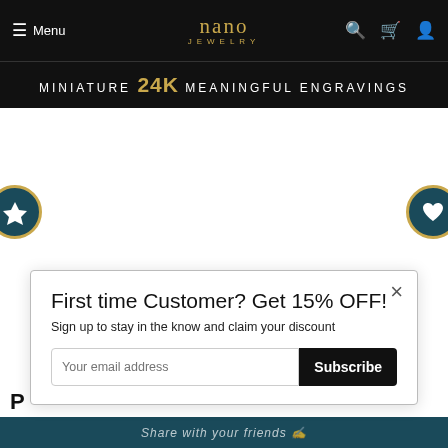Menu | nano JEWELRY | (search) (cart) (account)
MINIATURE 24K Meaningful Engravings
[Figure (illustration): White product display area with left navigation button (star icon, teal/gold circle) and right navigation button (heart icon, teal/gold circle)]
First time Customer? Get 15% OFF!
Sign up to stay in the know and claim your discount
Your email address [Subscribe]
P